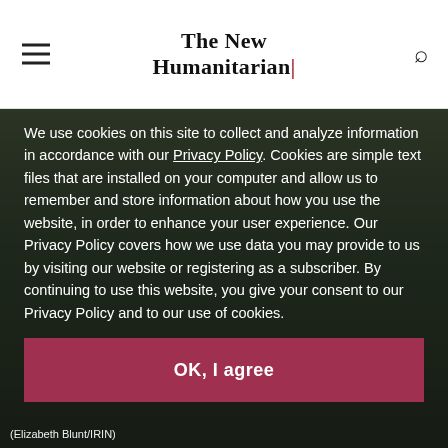The New Humanitarian
[Figure (photo): Forest background photo with tall trees and green foliage, partially obscured by a dark cookie consent overlay]
We use cookies on this site to collect and analyze information in accordance with our Privacy Policy. Cookies are simple text files that are installed on your computer and allow us to remember and store information about how you use the website, in order to enhance your user experience. Our Privacy Policy covers how we use data you may provide to us by visiting our website or registering as a subscriber. By continuing to use this website, you give your consent to our Privacy Policy and to our use of cookies.
OK, I agree
(Elizabeth Blunt/IRIN)